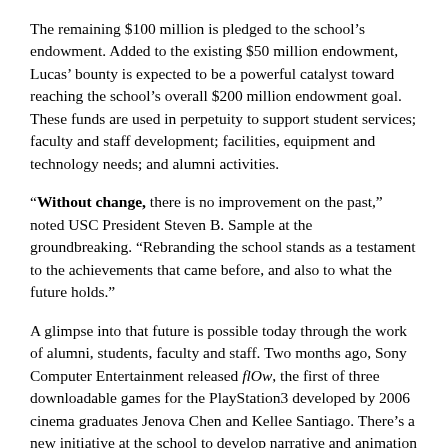The remaining $100 million is pledged to the school's endowment. Added to the existing $50 million endowment, Lucas' bounty is expected to be a powerful catalyst toward reaching the school's overall $200 million endowment goal. These funds are used in perpetuity to support student services; faculty and staff development; facilities, equipment and technology needs; and alumni activities.
“Without change, there is no improvement on the past,” noted USC President Steven B. Sample at the groundbreaking. “Rebranding the school stands as a testament to the achievements that came before, and also to what the future holds.”
A glimpse into that future is possible today through the work of alumni, students, faculty and staff. Two months ago, Sony Computer Entertainment released flOw, the first of three downloadable games for the PlayStation3 developed by 2006 cinema graduates Jenova Chen and Kellee Santiago. There’s a new initiative at the school to develop narrative and animation techniques for the super-small screens of cell phones and other mobile appliances. The future is also unfolding with installation